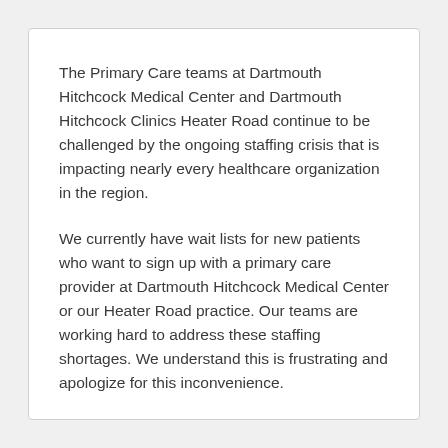The Primary Care teams at Dartmouth Hitchcock Medical Center and Dartmouth Hitchcock Clinics Heater Road continue to be challenged by the ongoing staffing crisis that is impacting nearly every healthcare organization in the region.
We currently have wait lists for new patients who want to sign up with a primary care provider at Dartmouth Hitchcock Medical Center or our Heater Road practice. Our teams are working hard to address these staffing shortages. We understand this is frustrating and apologize for this inconvenience.